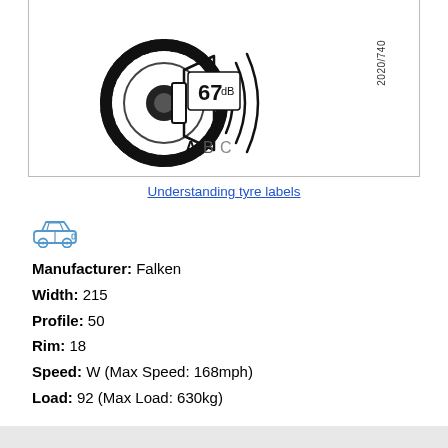[Figure (illustration): Tyre noise label showing a tyre with loudspeaker icon, 67 dB reading, and class A B C rating scale. Text '2020/740' on right side.]
Understanding tyre labels
[Figure (illustration): Small blue car icon]
Manufacturer: Falken
Width: 215
Profile: 50
Rim: 18
Speed: W (Max Speed: 168mph)
Load: 92 (Max Load: 630kg)